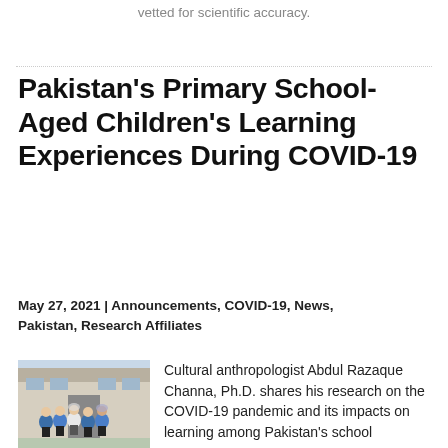vetted for scientific accuracy.
Pakistan's Primary School-Aged Children's Learning Experiences During COVID-19
May 27, 2021 | Announcements, COVID-19, News, Pakistan, Research Affiliates
[Figure (photo): Group of school-aged children in blue uniforms walking outside a school building in Pakistan.]
Cultural anthropologist Abdul Razaque Channa, Ph.D. shares his research on the COVID-19 pandemic and its impacts on learning among Pakistan's school